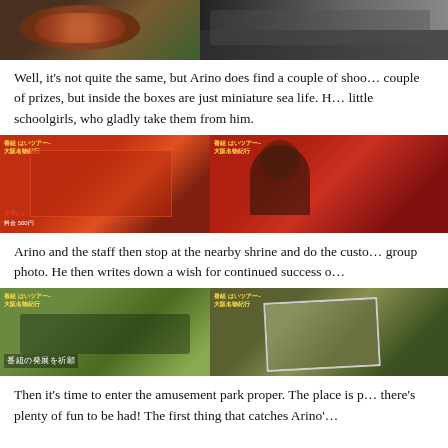[Figure (photo): Two photos side by side showing food items — left shows what appears to be roe or seafood in a bowl, right shows a crowd of people in line outdoors.]
Well, it's not quite the same, but Arino does find a couple of shoo... couple of prizes, but inside the boxes are just miniature sea life. H... little schoolgirls, who gladly take them from him.
[Figure (photo): Two photos side by side showing a red-decorated game booth/shrine stall — left shows a person at the booth, right shows a girl in dark clothing receiving something with a smile.]
Arino and the staff then stop at the nearby shrine and do the custo... group photo. He then writes down a wish for continued success o...
[Figure (photo): Two photos side by side of a shrine visit — left shows a group of people seated at a shrine writing wishes, right shows a group photo being held up with a shrine in background. Subtitle reads 番組の発展を祈願.]
Then it's time to enter the amusement park proper. The place is p... there's plenty of fun to be had! The first thing that catches Arino'...